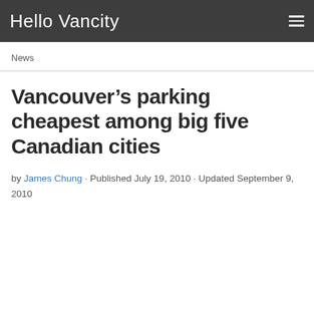Hello Vancity
News
Vancouver’s parking cheapest among big five Canadian cities
by James Chung · Published July 19, 2010 · Updated September 9, 2010